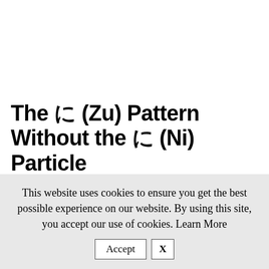The に (Zu) Pattern Without the に (Ni) Particle
You'll still hear people saying the zu pattern without the に (ni).  Taking the example above you
This website uses cookies to ensure you get the best possible experience on our website. By using this site, you accept our use of cookies. Learn More